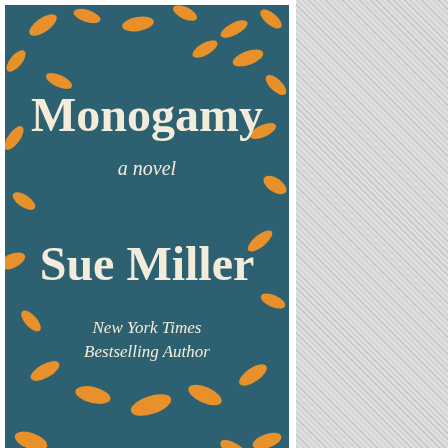[Figure (illustration): Book cover of 'Monogamy' by Sue Miller. Dark teal background with scattered orange/amber leaf illustrations. Title 'Monogamy' in large cream serif font, subtitle 'a novel' in smaller italic text, author name 'Sue Miller' in large cream serif font, and byline 'New York Times Bestselling Author' in italic text below.]
#LITERARYWIVES: MONOGAMY BY SUE MILLER